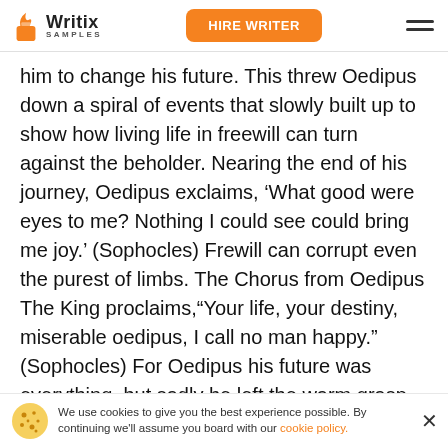Writix SAMPLES | HIRE WRITER
him to change his future. This threw Oedipus down a spiral of events that slowly built up to show how living life in freewill can turn against the beholder. Nearing the end of his journey, Oedipus exclaims, ‘What good were eyes to me? Nothing I could see could bring me joy.’ (Sophocles) Frewill can corrupt even the purest of limbs. The Chorus from Oedipus The King proclaims,“Your life, your destiny, miserable oedipus, I call no man happy.” (Sophocles) For Oedipus his future was everything, but sadly he left the warm grasp of his own kingdom to freely decide his own life. Oedipus illus
We use cookies to give you the best experience possible. By continuing we'll assume you board with our cookie policy.